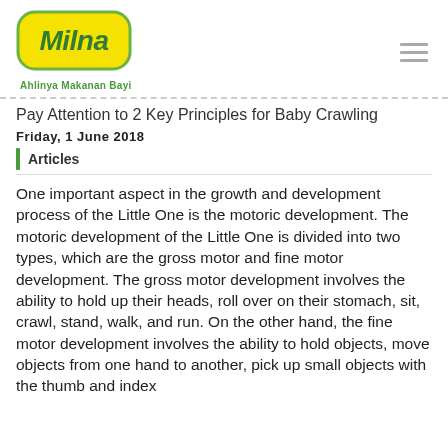[Figure (logo): Milna brand logo: yellow rounded rectangle shape with green border, green text 'Milna' in italic bold, with tagline 'Ahlinya Makanan Bayi' in green below]
Pay Attention to 2 Key Principles for Baby Crawling
Friday, 1 June 2018
Articles
One important aspect in the growth and development process of the Little One is the motoric development. The motoric development of the Little One is divided into two types, which are the gross motor and fine motor development. The gross motor development involves the ability to hold up their heads, roll over on their stomach, sit, crawl, stand, walk, and run. On the other hand, the fine motor development involves the ability to hold objects, move objects from one hand to another, pick up small objects with the thumb and index